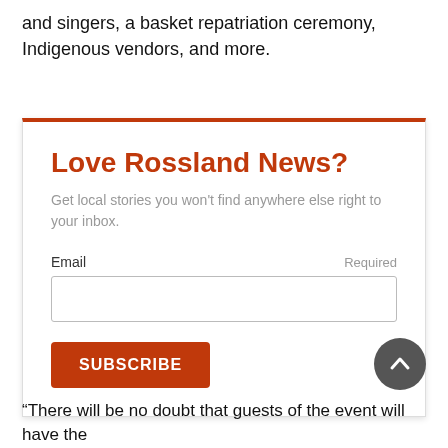and singers, a basket repatriation ceremony, Indigenous vendors, and more.
Love Rossland News?
Get local stories you won't find anywhere else right to your inbox.
Email Required
SUBSCRIBE
“There will be no doubt that guests of the event will have the